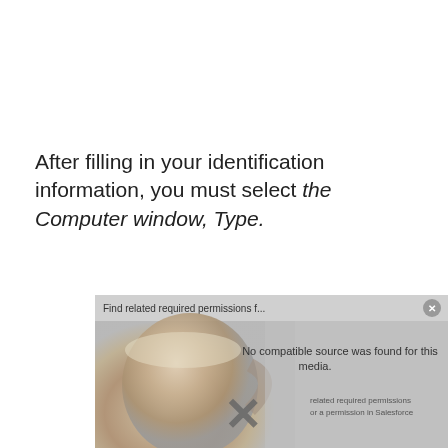After filling in your identification information, you must select the Computer window, Type.
[Figure (screenshot): A video player screenshot showing 'Find related required permissions f...' in the title bar with a close button, displaying 'No compatible source was found for this media.' message over a background image of a coffee mug. An X mark is visible and text about 'related required permissions or a permission in Salesforce' appears on the right. 'Infallible Techie' watermark at bottom right.]